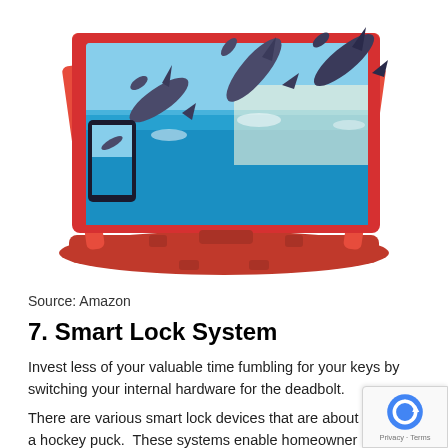[Figure (photo): Red plastic phone screen magnifier/amplifier stand with a smartphone displaying dolphins jumping at a marine park. The device is a foldable stand with a large magnifying lens panel in red, viewed from a 3/4 angle.]
Source: Amazon
7. Smart Lock System
Invest less of your valuable time fumbling for your keys by switching your internal hardware for the deadbolt.
There are various smart lock devices that are about th of a hockey puck.  These systems enable homeowner auto-unlock and auto-lock doors, create digital keys for